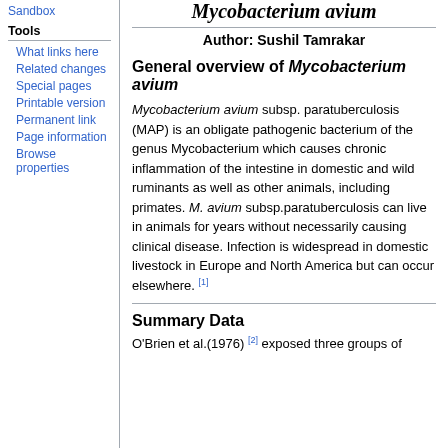Sandbox
Mycobacterium avium
Author: Sushil Tamrakar
General overview of Mycobacterium avium
Mycobacterium avium subsp. paratuberculosis (MAP) is an obligate pathogenic bacterium of the genus Mycobacterium which causes chronic inflammation of the intestine in domestic and wild ruminants as well as other animals, including primates. M. avium subsp.paratuberculosis can live in animals for years without necessarily causing clinical disease. Infection is widespread in domestic livestock in Europe and North America but can occur elsewhere. [1]
Summary Data
O'Brien et al.(1976) [2] exposed three groups of